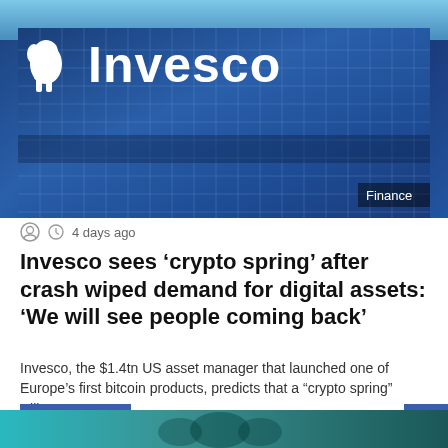[Figure (photo): Invesco building facade with blue glass grid exterior, white Invesco logo text and mammoth mascot, Finance badge in bottom right corner]
4 days ago
Invesco sees ‘crypto spring’ after crash wiped demand for digital assets: ‘We will see people coming back’
Invesco, the $1.4tn US asset manager that launched one of Europe’s first bitcoin products, predicts that a “crypto spring” will…
Read More »